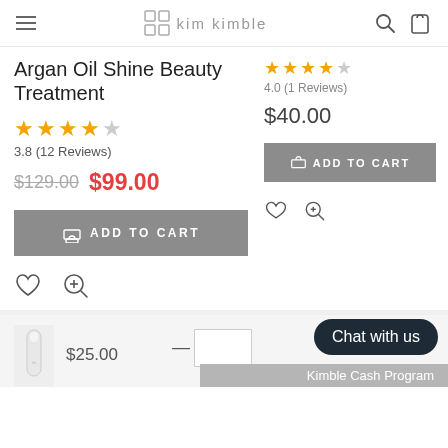kim kimble
Argan Oil Shine Beauty Treatment
3.8 (12 Reviews)
$129.00  $99.00
ADD TO CART
4.0 (1 Reviews)
$40.00
ADD TO CART
$25.00
Chat with us
Kimble Cash Program